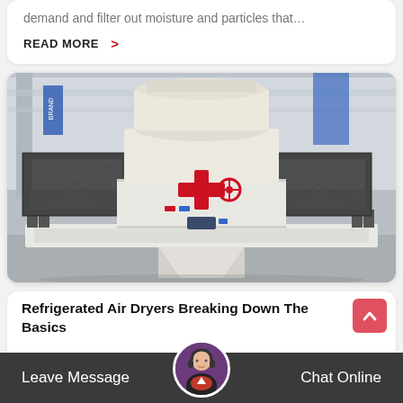demand and filter out moisture and particles that…
READ MORE  >
[Figure (photo): Large white industrial vertical shaft impact (VSI) crusher machine with black metal access platforms on both sides and a red cross-shaped control valve in the center, photographed in a factory setting.]
Refrigerated Air Dryers Breaking Down The Basics
an air to air heat exchanger used to both precool
Leave Message
Chat Online